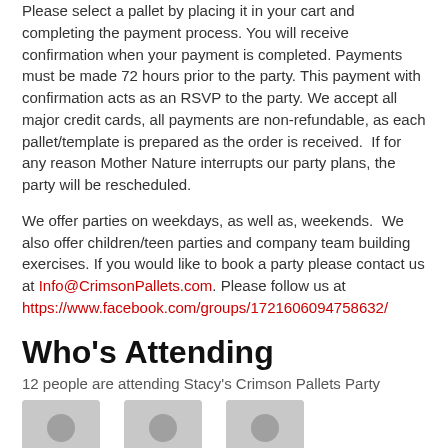Please select a pallet by placing it in your cart and completing the payment process. You will receive confirmation when your payment is completed. Payments must be made 72 hours prior to the party. This payment with confirmation acts as an RSVP to the party. We accept all major credit cards, all payments are non-refundable, as each pallet/template is prepared as the order is received.  If for any reason Mother Nature interrupts our party plans, the party will be rescheduled.
We offer parties on weekdays, as well as, weekends.  We also offer children/teen parties and company team building exercises. If you would like to book a party please contact us at Info@CrimsonPallets.com. Please follow us at https://www.facebook.com/groups/1721606094758632/
Who's Attending
12 people are attending Stacy's Crimson Pallets Party
[Figure (illustration): Three grey avatar placeholder icons shown in a row]